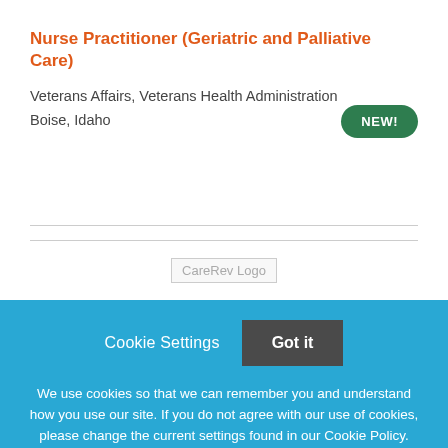Nurse Practitioner (Geriatric and Palliative Care)
Veterans Affairs, Veterans Health Administration
Boise, Idaho
[Figure (logo): CareRev Logo placeholder image]
Cookie Settings   Got it
We use cookies so that we can remember you and understand how you use our site. If you do not agree with our use of cookies, please change the current settings found in our Cookie Policy. Otherwise, you agree to the use of the cookies as they are currently set.